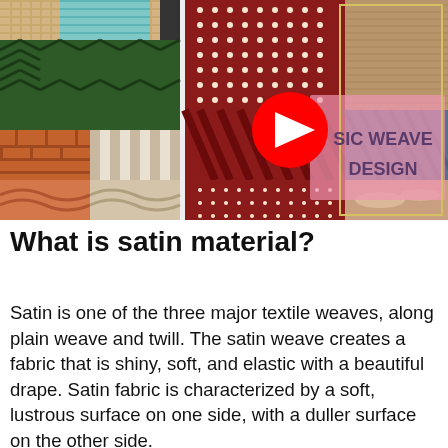[Figure (screenshot): YouTube video thumbnail showing various fabric weave pattern samples arranged in a grid on the left, with denim and other fabric textures on the right. A pink semi-transparent overlay shows the text 'SIC WEAVE DESIGN' and a red YouTube play button is in the center.]
What is satin material?
Satin is one of the three major textile weaves, along plain weave and twill. The satin weave creates a fabric that is shiny, soft, and elastic with a beautiful drape. Satin fabric is characterized by a soft, lustrous surface on one side, with a duller surface on the other side.